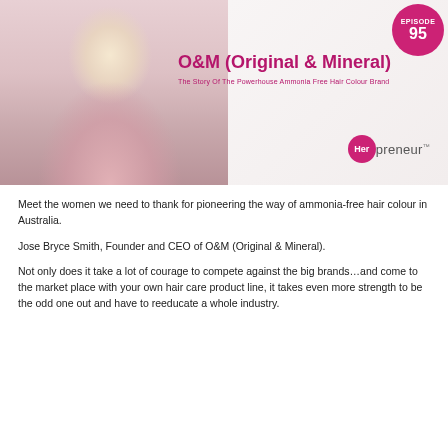[Figure (photo): Podcast episode header image showing a woman with blonde hair wearing a pink top, seated at a table. Text overlay reads 'O&M (Original & Mineral) - The Story Of The Powerhouse Ammonia Free Hair Colour Brand'. Episode 95 badge in top right. Herpreneur logo bottom right.]
Meet the women we need to thank for pioneering the way of ammonia-free hair colour in Australia.
Jose Bryce Smith, Founder and CEO of O&M (Original & Mineral).
Not only does it take a lot of courage to compete against the big brands…and come to the market place with your own hair care product line, it takes even more strength to be the odd one out and have to reeducate a whole industry.